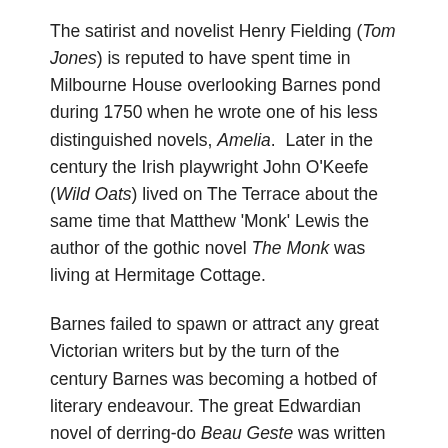The satirist and novelist Henry Fielding (Tom Jones) is reputed to have spent time in Milbourne House overlooking Barnes pond during 1750 when he wrote one of his less distinguished novels, Amelia.  Later in the century the Irish playwright John O'Keefe (Wild Oats) lived on The Terrace about the same time that Matthew 'Monk' Lewis the author of the gothic novel The Monk was living at Hermitage Cottage.
Barnes failed to spawn or attract any great Victorian writers but by the turn of the century Barnes was becoming a hotbed of literary endeavour. The great Edwardian novel of derring-do Beau Geste was written in Church Road by P C Wren and, in the twenties, Dodie Smith the author of I Capture the Castle and 101 Dalmations lived in Riverview Gardens.